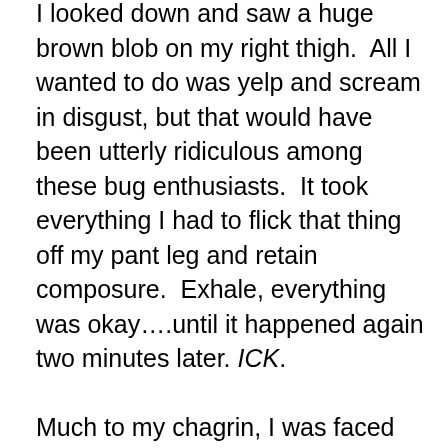I looked down and saw a huge brown blob on my right thigh.  All I wanted to do was yelp and scream in disgust, but that would have been utterly ridiculous among these bug enthusiasts.  It took everything I had to flick that thing off my pant leg and retain composure.  Exhale, everything was okay….until it happened again two minutes later. ICK.

Much to my chagrin, I was faced with more roach encounters, even one next to my pillow on the last night in the eco-lodge.  Must have been my perfume, eau de OFF, attracting these critters.  By this point, I was a pro at the thumb-to-middle finger roach flick.  Thus, with great ease (and disgust) I flicked that thing off the bed, swatted...